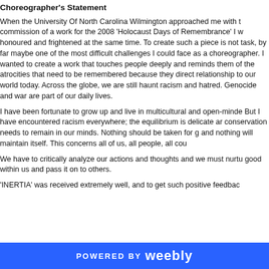Choreographer's Statement
When the University Of North Carolina Wilmington approached me with the commission of a work for the 2008 'Holocaust Days of Remembrance' I was honoured and frightened at the same time. To create such a piece is not an easy task, by far maybe one of the most difficult challenges I could face as a choreographer. I wanted to create a work that touches people deeply and reminds them of the atrocities that need to be remembered because they have a direct relationship to our world today. Across the globe, we are still haunted by racism and hatred. Genocide and war are part of our daily lives.
I have been fortunate to grow up and live in multicultural and open-minded societies. But I have encountered racism everywhere; the equilibrium is delicate and conservation needs to remain in our minds. Nothing should be taken for granted and nothing will maintain itself. This concerns all of us, all people, all countries.
We have to critically analyze our actions and thoughts and we must nurture the good within us and pass it on to others.
'INERTIA' was received extremely well, and to get such positive feedback...
POWERED BY weebly